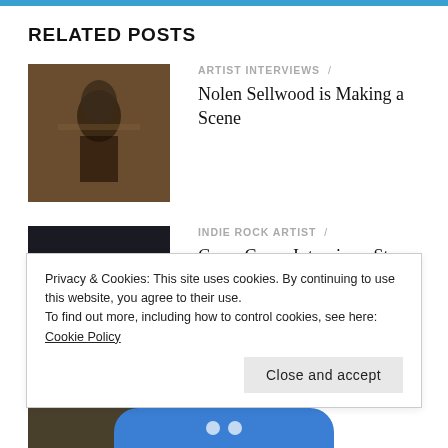RELATED POSTS
ARTIST INTERVIEWS / Nolen Sellwood is Making a Scene
INDIE ROCK ARTIST / Gerry Casey Interviews Stone James of the Dead Show Dealers
ARTIST INTERVIEWS /
Privacy & Cookies: This site uses cookies. By continuing to use this website, you agree to their use.
To find out more, including how to control cookies, see here: Cookie Policy
Close and accept